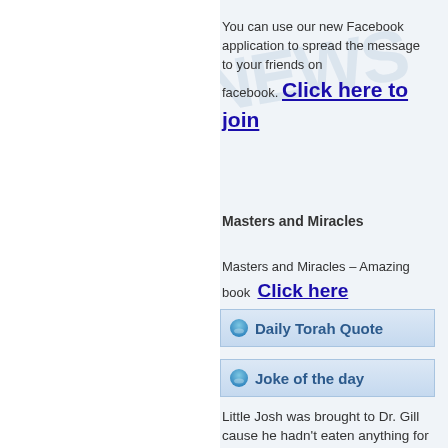You can use our new Facebook application to spread the message to your friends on facebook. Click here to join
Masters and Miracles
Masters and Miracles – Amazing book  Click here
Daily Torah Quote
Joke of the day
Little Josh was brought to Dr. Gill cause he hadn't eaten anything for days. Dr. Gill offered him all the goodies he could think of. No luck. He tried a little scolding. It didn't work. A little pleading, to no avail. Finally he sat down, faced the boy, looked him in the eye. He said, "Look young man, if you can be stubborn, so can I. You're not going anywhere till you eat